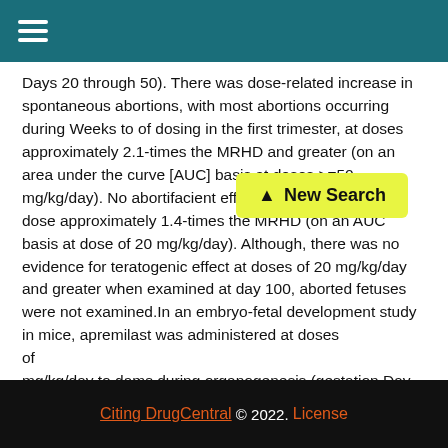Days 20 through 50). There was dose-related increase in spontaneous abortions, with most abortions occurring during Weeks to of dosing in the first trimester, at doses approximately 2.1-times the MRHD and greater (on an area under the curve [AUC] basis at doses >=50 mg/kg/day). No abortifacient effects were observed at dose approximately 1.4-times the MRHD (on an AUC basis at dose of 20 mg/kg/day). Although, there was no evidence for teratogenic effect at doses of 20 mg/kg/day and greater when examined at day 100, aborted fetuses were not examined.In an embryo-fetal development study in mice, apremilast was administered at doses of... mg/kg/day to dams during organogenesis (gestation Day
[Figure (other): New Search button with upward arrow icon, yellow-green background]
Citing DrugCentral © 2022. License